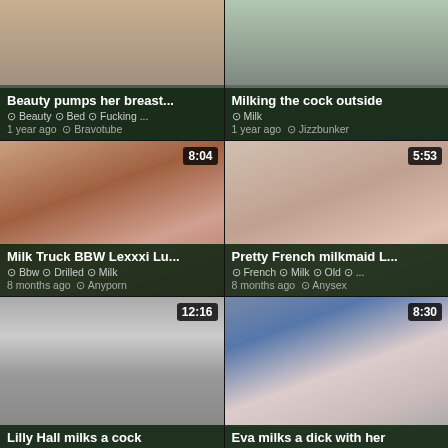[Figure (screenshot): Video thumbnail grid showing adult video listing page with 6 video cards in 2-column layout]
Beauty pumps her breast...
Beauty · Bed · Fucking ... | 1 year ago · Bravotube
Milking the cock outside
Milk | 1 year ago · Jizzbunker
Milk Truck BBW Lexxxi Lu...
Bbw · Drilled · Milk | 8 months ago · Anyporn
Pretty French milkmaid L...
French · Milk · Old · ... | 8 months ago · Anysex
Lilly Hall milks a cock
Eva milks a dick with her